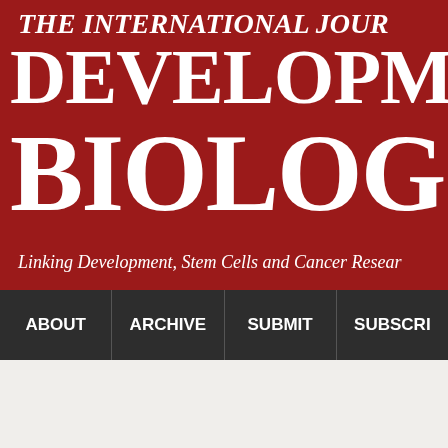[Figure (logo): The International Journal of Developmental Biology header banner with large red background, white serif text reading THE INTERNATIONAL JOURNAL OF DEVELOPMENTAL BIOLOGY and subtitle Linking Development, Stem Cells and Cancer Research]
ABOUT | ARCHIVE | SUBMIT | SUBSCRI
[Figure (photo): Cover of the International Journal of Developmental Biology showing a goat/ibex animal on rocky terrain]
Int. J. Dev. Biol. 61: 267 - 276 (2017)
doi: 10.1387/ijdb.160442yc
© UPV/EHU Press